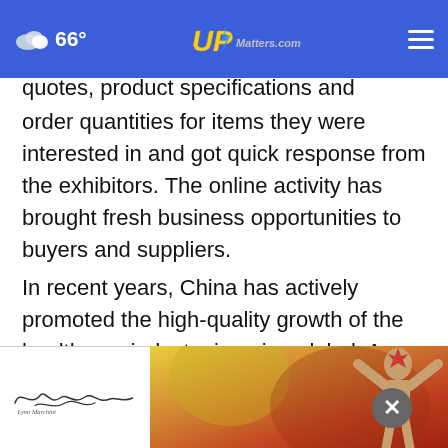66° UPMatters.com
quotes, product specifications and minimum order quantities for items they were interested in and got quick response from the exhibitors. The online activity has brought fresh business opportunities to buyers and suppliers.
In recent years, China has actively promoted the high-quality growth of the healthcare industry in going global. As a result, medical and health products made in China have been popular among... quali...
[Figure (illustration): Advertisement banner at the bottom with a signature on white background on the left and a woman figure on colorful background on the right. A close button (×) appears above the banner.]